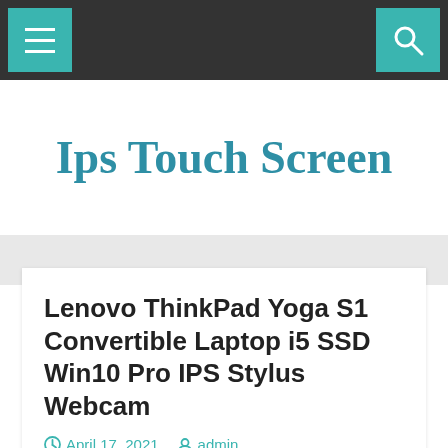Navigation bar with menu and search icons
Ips Touch Screen
Lenovo ThinkPad Yoga S1 Convertible Laptop i5 SSD Win10 Pro IPS Stylus Webcam
April 17, 2021  admin